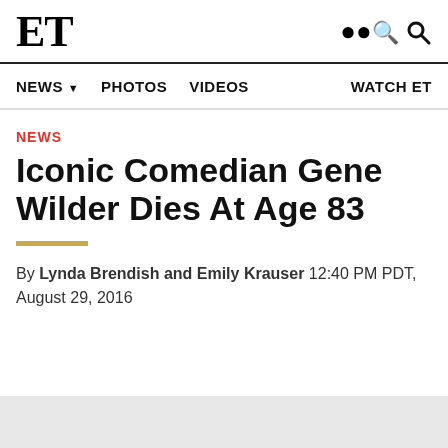ET
NEWS  PHOTOS  VIDEOS  WATCH ET
NEWS
Iconic Comedian Gene Wilder Dies At Age 83
By Lynda Brendish and Emily Krauser 12:40 PM PDT, August 29, 2016